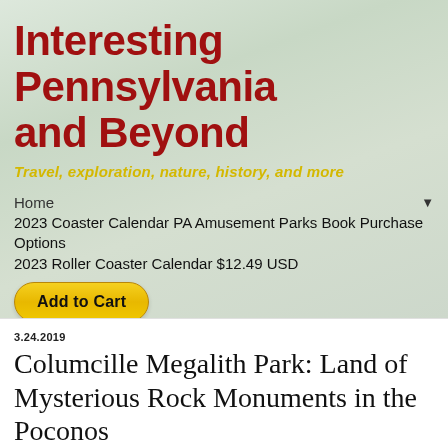Interesting Pennsylvania and Beyond
Travel, exploration, nature, history, and more
Home
2023 Coaster Calendar PA Amusement Parks Book Purchase Options
2023 Roller Coaster Calendar $12.49 USD
Add to Cart
3.24.2019
Columcille Megalith Park: Land of Mysterious Rock Monuments in the Poconos